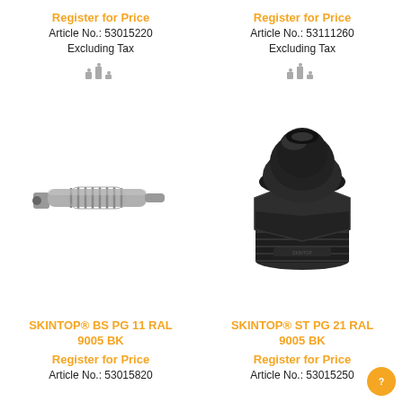Register for Price
Article No.: 53015220
Excluding Tax
Register for Price
Article No.: 53111260
Excluding Tax
[Figure (photo): Gray plastic cable gland strain relief connector, SKINTOP BS PG 11 RAL 9005 BK]
[Figure (photo): Black plastic cable gland, SKINTOP ST PG 21 RAL 9005 BK]
SKINTOP® BS PG 11 RAL 9005 BK
SKINTOP® ST PG 21 RAL 9005 BK
Register for Price
Article No.: 53015820
Register for Price
Article No.: 53015250